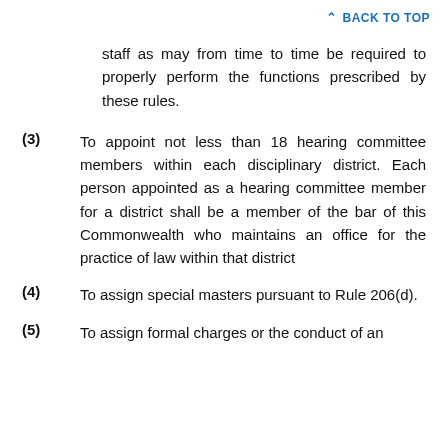BACK TO TOP
staff as may from time to time be required to properly perform the functions prescribed by these rules.
(3) To appoint not less than 18 hearing committee members within each disciplinary district. Each person appointed as a hearing committee member for a district shall be a member of the bar of this Commonwealth who maintains an office for the practice of law within that district
(4) To assign special masters pursuant to Rule 206(d).
(5) To assign formal charges or the conduct of an